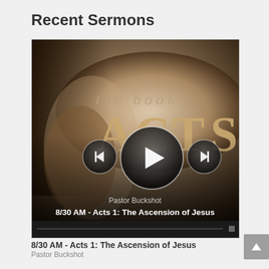Recent Sermons
[Figure (screenshot): Video media player showing 'The Book of Acts' sermon thumbnail with play/previous/next controls, speaker name 'Pastor Buckshot', sermon title '8/30 AM - Acts 1: The Ascension of Jesus', and time display '0:00 / 0:00']
8/30 AM - Acts 1: The Ascension of Jesus
Pastor Buckshot